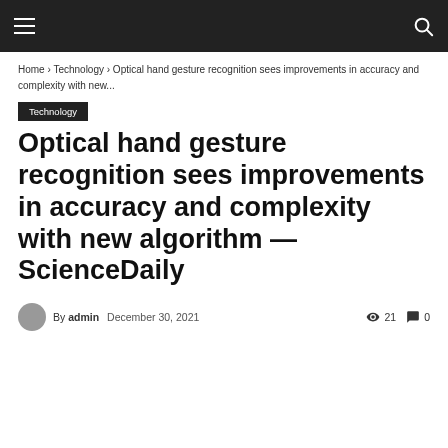☰  🔍
Home › Technology › Optical hand gesture recognition sees improvements in accuracy and complexity with new...
Technology
Optical hand gesture recognition sees improvements in accuracy and complexity with new algorithm — ScienceDaily
By admin   December 30, 2021   👁 21   💬 0